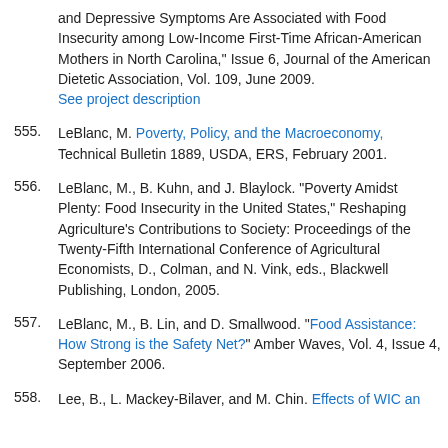(continuation) and Depressive Symptoms Are Associated with Food Insecurity among Low-Income First-Time African-American Mothers in North Carolina," Issue 6, Journal of the American Dietetic Association, Vol. 109, June 2009. See project description
555. LeBlanc, M. Poverty, Policy, and the Macroeconomy, Technical Bulletin 1889, USDA, ERS, February 2001.
556. LeBlanc, M., B. Kuhn, and J. Blaylock. "Poverty Amidst Plenty: Food Insecurity in the United States," Reshaping Agriculture's Contributions to Society: Proceedings of the Twenty-Fifth International Conference of Agricultural Economists, D., Colman, and N. Vink, eds., Blackwell Publishing, London, 2005.
557. LeBlanc, M., B. Lin, and D. Smallwood. "Food Assistance: How Strong is the Safety Net?" Amber Waves, Vol. 4, Issue 4, September 2006.
558. Lee, B., L. Mackey-Bilaver, and M. Chin. Effects of WIC an